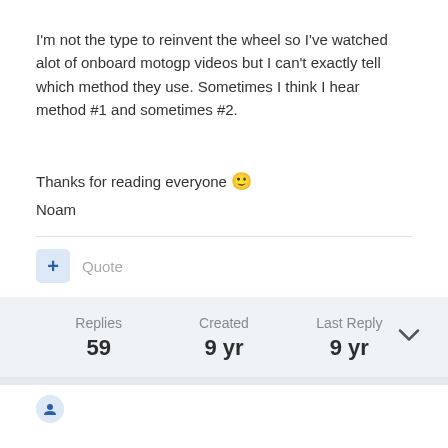I'm not the type to reinvent the wheel so I've watched alot of onboard motogp videos but I can't exactly tell which method they use. Sometimes I think I hear method #1 and sometimes #2.
Thanks for reading everyone 🙂
Noam
+ Quote
Replies 59 | Created 9 yr | Last Reply 9 yr